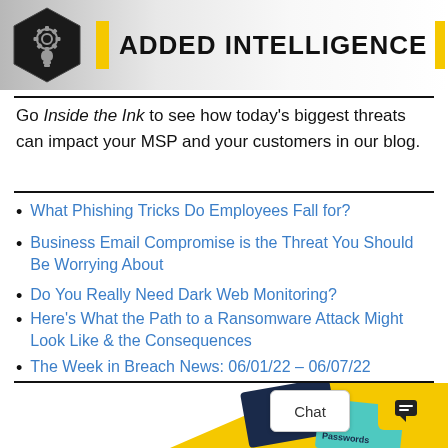[Figure (logo): Added Intelligence logo with hexagon gear/lightbulb icon and yellow bar accent beside bold text 'ADDED INTELLIGENCE']
Go Inside the Ink to see how today's biggest threats can impact your MSP and your customers in our blog.
What Phishing Tricks Do Employees Fall for?
Business Email Compromise is the Threat You Should Be Worrying About
Do You Really Need Dark Web Monitoring?
Here's What the Path to a Ransomware Attack Might Look Like & the Consequences
The Week in Breach News: 06/01/22 – 06/07/22
[Figure (illustration): Bottom section showing yellow background with credit cards labeled Passwords]